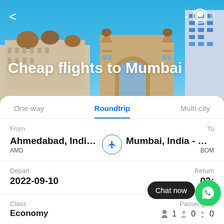[Figure (screenshot): Hero image of Mumbai Gateway of India architecture with blue sky background]
Cheap flights to Mumbai
One-way | Roundtrip | Multi-city tab bar, Roundtrip is selected
From: Ahmedabad, India -... AMD | To: Mumbai, India - Ch... BOM
Depart: 2022-09-10 | Return: 02:
Class: Economy | Passengers: 1 adult, 0 child, 0 infant
[Figure (screenshot): Chat now WhatsApp button overlay]